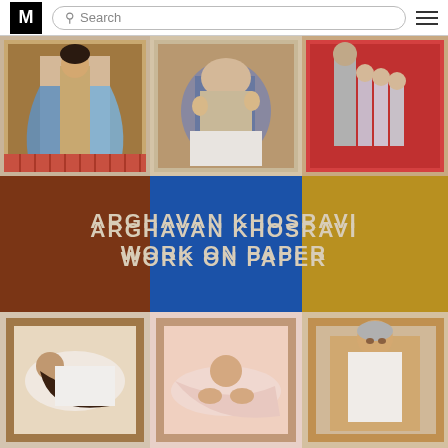M Search
[Figure (illustration): Exhibition banner for 'Arghavan Khosravi: Work on Paper' showing a 3x3 grid of figurative artworks with decorative Persian-inspired borders. Top row: three paintings featuring figures with ornate carpet/tapestry backgrounds. Middle row: large colored blocks (brown, blue, gold) with exhibition title text. Bottom row: three more figurative paintings with decorative frames.]
ARGHAVAN KHOSRAVI WORK ON PAPER